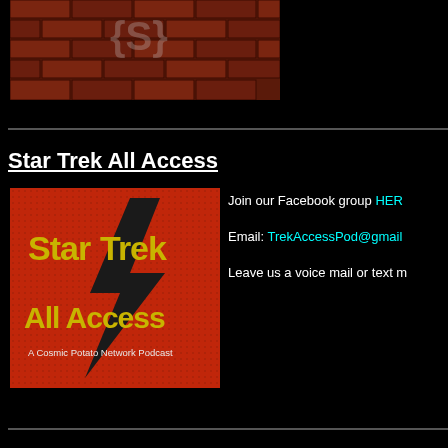[Figure (photo): Partial image of a brick wall with graffiti, cropped at top of page]
Star Trek All Access
[Figure (logo): Star Trek All Access podcast logo - red background with yellow text 'StarTrek All Access' and black lightning bolt, subtitle 'A Cosmic Potato Network Podcast']
Join our Facebook group HERE
Email: TrekAccessPod@gmail...
Leave us a voice mail or text m...